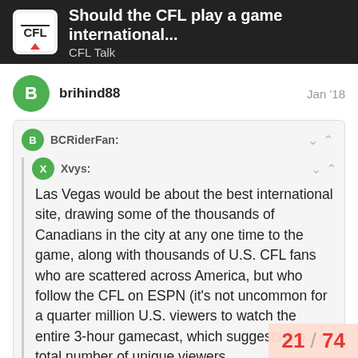Should the CFL play a game international... | CFL Talk
brihind88
Jan '18
BCRiderFan:
Xvys:
Las Vegas would be about the best international site, drawing some of the thousands of Canadians in the city at any one time to the game, along with thousands of U.S. CFL fans who are scattered across America, but who follow the CFL on ESPN (it's not uncommon for a quarter million U.S. viewers to watch the entire 3-hour gamecast, which suggests the total number of unique viewers
21 / 74